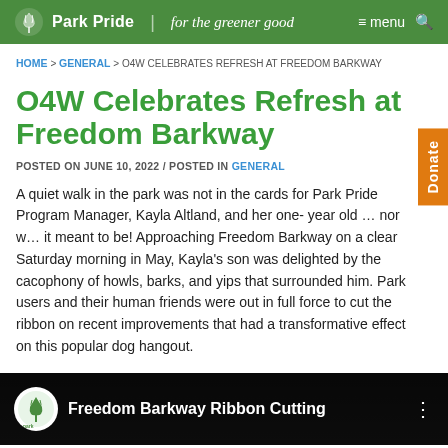Park Pride | for the greener good  ≡ menu 🔍
HOME > GENERAL > O4W CELEBRATES REFRESH AT FREEDOM BARKWAY
O4W Celebrates Refresh at Freedom Barkway
POSTED ON JUNE 10, 2022 / POSTED IN GENERAL
A quiet walk in the park was not in the cards for Park Pride Program Manager, Kayla Altland, and her one- year old … nor was it meant to be! Approaching Freedom Barkway on a clear Saturday morning in May, Kayla's son was delighted by the cacophony of howls, barks, and yips that surrounded him. Park users and their human friends were out in full force to cut the ribbon on recent improvements that had a transformative effect on this popular dog hangout.
[Figure (screenshot): Video thumbnail showing 'Freedom Barkway Ribbon Cutting' with Park Pride logo on black background]